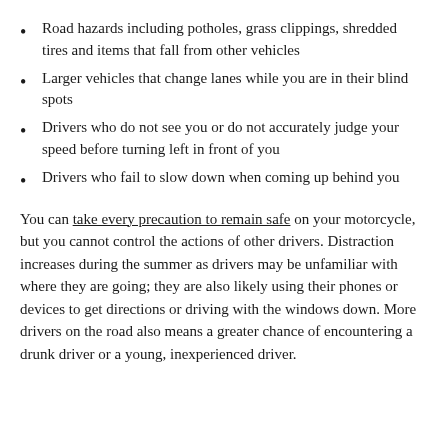Road hazards including potholes, grass clippings, shredded tires and items that fall from other vehicles
Larger vehicles that change lanes while you are in their blind spots
Drivers who do not see you or do not accurately judge your speed before turning left in front of you
Drivers who fail to slow down when coming up behind you
You can take every precaution to remain safe on your motorcycle, but you cannot control the actions of other drivers. Distraction increases during the summer as drivers may be unfamiliar with where they are going; they are also likely using their phones or devices to get directions or driving with the windows down. More drivers on the road also means a greater chance of encountering a drunk driver or a young, inexperienced driver.